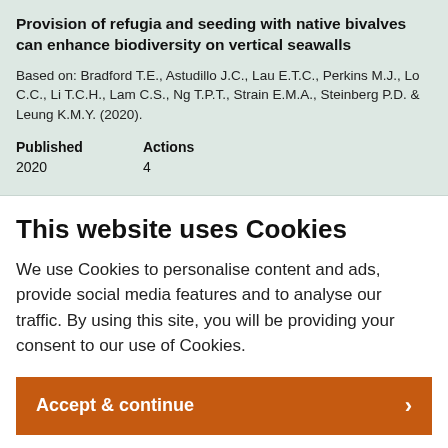Provision of refugia and seeding with native bivalves can enhance biodiversity on vertical seawalls
Based on: Bradford T.E., Astudillo J.C., Lau E.T.C., Perkins M.J., Lo C.C., Li T.C.H., Lam C.S., Ng T.P.T., Strain E.M.A., Steinberg P.D. & Leung K.M.Y. (2020).
| Published | Actions |
| --- | --- |
| 2020 | 4 |
This website uses Cookies
We use Cookies to personalise content and ads, provide social media features and to analyse our traffic. By using this site, you will be providing your consent to our use of Cookies.
Accept & continue